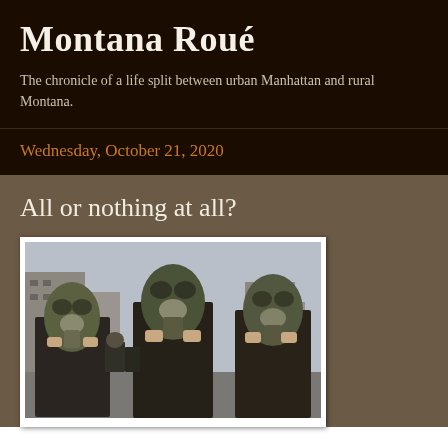Montana Roué
The chronicle of a life split between urban Manhattan and rural Montana.
Wednesday, October 21, 2020
All or nothing at all?
[Figure (photo): Three people in dark coats holding large gas masks over their faces, standing in an urban street setting]